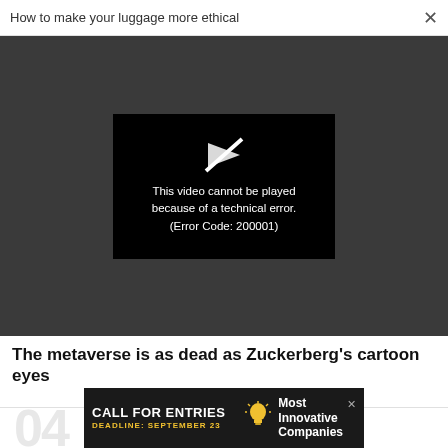How to make your luggage more ethical  ×
[Figure (screenshot): Video player showing error: broken play button icon above text 'This video cannot be played because of a technical error. (Error Code: 200001)' on black background, within a dark gray video area.]
The metaverse is as dead as Zuckerberg's cartoon eyes
04
[Figure (other): Advertisement banner: 'CALL FOR ENTRIES  DEADLINE: SEPTEMBER 23' with a lightbulb icon and text 'Most Innovative Companies' on dark background, with a close (×) button.]